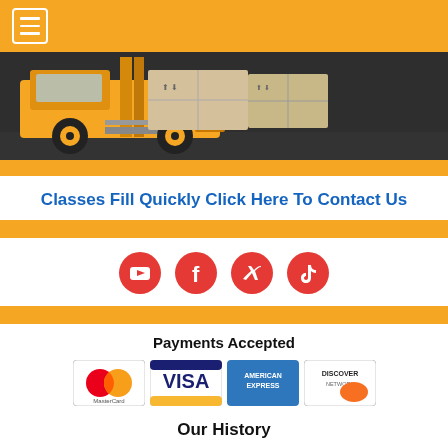[Figure (screenshot): Orange navigation header bar with hamburger menu icon in white bordered box]
[Figure (photo): Yellow forklift carrying cardboard boxes in a warehouse/dark background]
Classes Fill Quickly Click Here To Contact Us
[Figure (infographic): Four red circular social media icons: YouTube, Facebook, Twitter, TikTok]
Payments Accepted
[Figure (infographic): Payment method logos: MasterCard, VISA, American Express, Discover Network]
Our History
All Purpose Forklift Training instructors combined brings